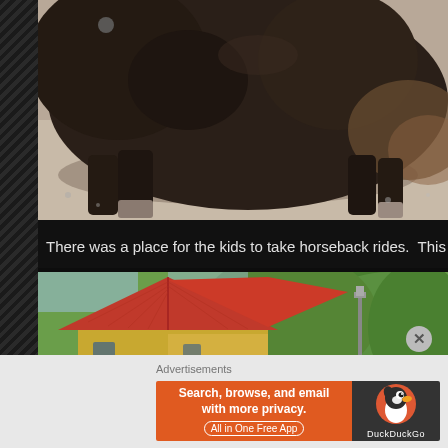[Figure (photo): Close-up photo of a dark brown bison or buffalo lying on gravel ground, showing its massive body, head, and legs. Bright outdoor lighting.]
There was a place for the kids to take horseback rides.  This was gr
[Figure (photo): Photo of a yellow wooden building with a red metal roof, surrounded by green trees in background. Appears to be a farm or ranch building.]
Advertisements
[Figure (other): DuckDuckGo advertisement banner: 'Search, browse, and email with more privacy. All in One Free App' with DuckDuckGo duck logo on dark background.]